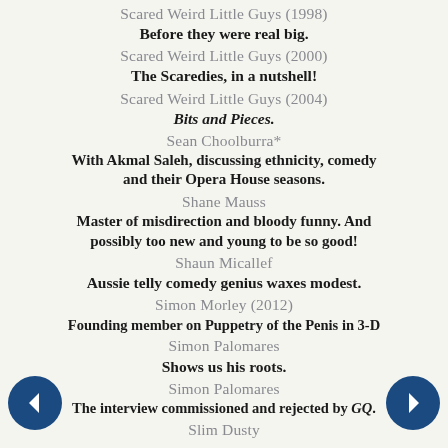Scared Weird Little Guys (1998)
Before they were real big.
Scared Weird Little Guys (2000)
The Scaredies, in a nutshell!
Scared Weird Little Guys (2004)
Bits and Pieces.
Sean Choolburra*
With Akmal Saleh, discussing ethnicity, comedy and their Opera House seasons.
Shane Mauss
Master of misdirection and bloody funny. And possibly too new and young to be so good!
Shaun Micallef
Aussie telly comedy genius waxes modest.
Simon Morley (2012)
Founding member on Puppetry of the Penis in 3-D
Simon Palomares
Shows us his roots.
Simon Palomares
The interview commissioned and rejected by GQ.
Slim Dusty